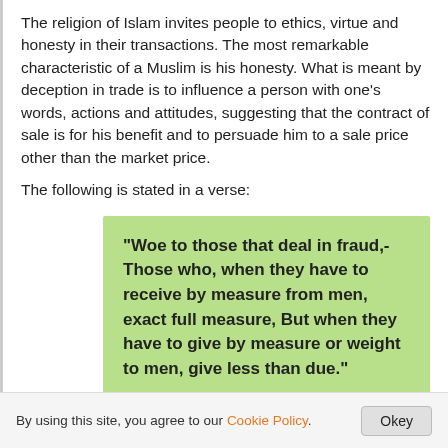The religion of Islam invites people to ethics, virtue and honesty in their transactions. The most remarkable characteristic of a Muslim is his honesty. What is meant by deception in trade is to influence a person with one's words, actions and attitudes, suggesting that the contract of sale is for his benefit and to persuade him to a sale price other than the market price.
The following is stated in a verse:
“Woe to those that deal in fraud,- Those who, when they have to receive by measure from men, exact full measure, But when they have to give by measure or weight to men, give less than due.” (al-Mutaffifin, 83/1-3). (See also al-An’am, 6/152; al-Isra 17/35; ash-Shuara, 28/181-183).
By using this site, you agree to our Cookie Policy.